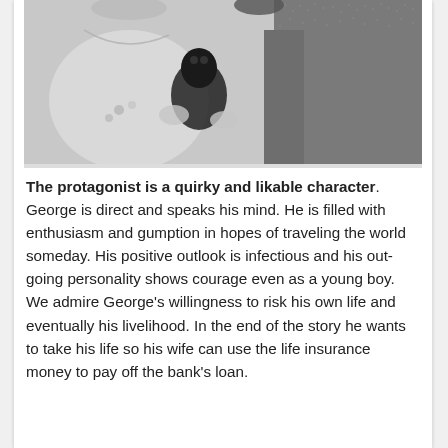[Figure (photo): Black and white photograph showing a woman holding what appears to be a small animal or object, with a man in a tweed jacket behind her. The image is cropped showing primarily their torsos and hands.]
The protagonist is a quirky and likable character. George is direct and speaks his mind. He is filled with enthusiasm and gumption in hopes of traveling the world someday. His positive outlook is infectious and his out-going personality shows courage even as a young boy. We admire George's willingness to risk his own life and eventually his livelihood. In the end of the story he wants to take his life so his wife can use the life insurance money to pay off the bank's loan.